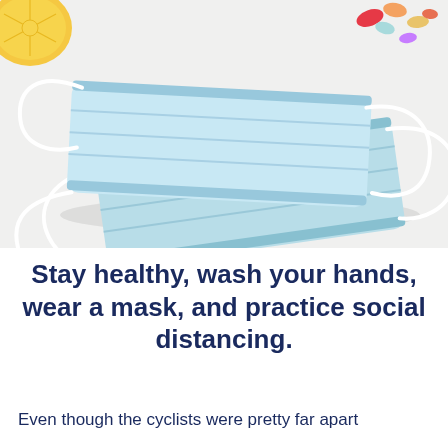[Figure (photo): Photograph of two light blue disposable surgical face masks with white ear loops, placed on a white surface. A sliced lemon is visible in the upper left corner and colorful pills/tablets are visible in the upper right corner.]
Stay healthy, wash your hands, wear a mask, and practice social distancing.
Even though the cyclists were pretty far apart